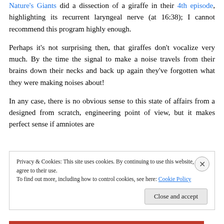Nature's Giants did a dissection of a giraffe in their 4th episode, highlighting its recurrent laryngeal nerve (at 16:38); I cannot recommend this program highly enough.
Perhaps it's not surprising then, that giraffes don't vocalize very much. By the time the signal to make a noise travels from their brains down their necks and back up again they've forgotten what they were making noises about!
In any case, there is no obvious sense to this state of affairs from a designed from scratch, engineering point of view, but it makes perfect sense if amniotes are
Privacy & Cookies: This site uses cookies. By continuing to use this website, you agree to their use.
To find out more, including how to control cookies, see here: Cookie Policy